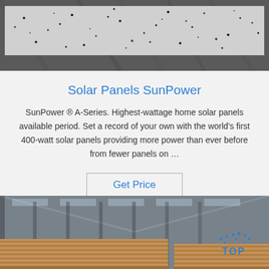[Figure (photo): Close-up photo of granite or speckled stone texture with grey and dark speckled patterns, partially cropped showing a rectangular slab against a darker textured background.]
Solar Panels SunPower
SunPower ® A-Series. Highest-wattage home solar panels available period. Set a record of your own with the world's first 400-watt solar panels providing more power than ever before from fewer panels on …
Get Price
[Figure (photo): Interior photo of a large warehouse or factory with high metal roof, natural light from skylights, rows of stacked wooden panels or boards on the floor, and a blue 'TOP' logo watermark in the lower right corner.]